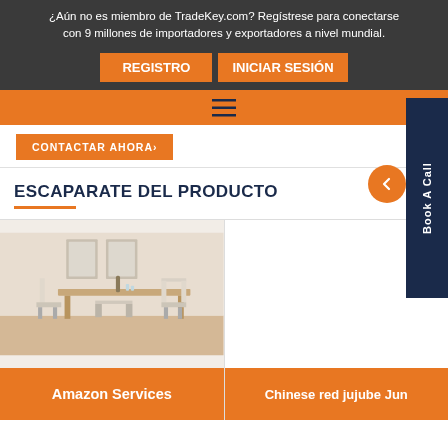¿Aún no es miembro de TradeKey.com? Regístrese para conectarse con 9 millones de importadores y exportadores a nivel mundial.
REGISTRO   INICIAR SESIÓN
[Figure (screenshot): Orange navigation bar with hamburger menu icon]
CONTACTAR AHORA›
ESCAPARATE DEL PRODUCTO
[Figure (photo): Dining room furniture set with table and chairs in a bright room]
Amazon Services
Chinese red jujube Jun
Book A Call